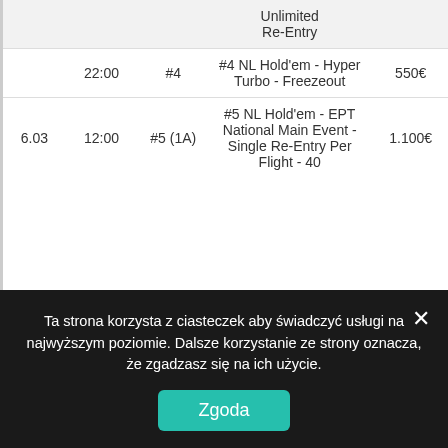|  |  |  | Unlimited Re-Entry |  |
| --- | --- | --- | --- | --- |
|  | 22:00 | #4 | #4 NL Hold'em - Hyper Turbo - Freezeout | 550€ |
| 6.03 | 12:00 | #5 (1A) | #5 NL Hold'em - EPT National Main Event - Single Re-Entry Per Flight - 40 | 1.100€ |
Ta strona korzysta z ciasteczek aby świadczyć usługi na najwyższym poziomie. Dalsze korzystanie ze strony oznacza, że zgadzasz się na ich użycie.
Zgoda